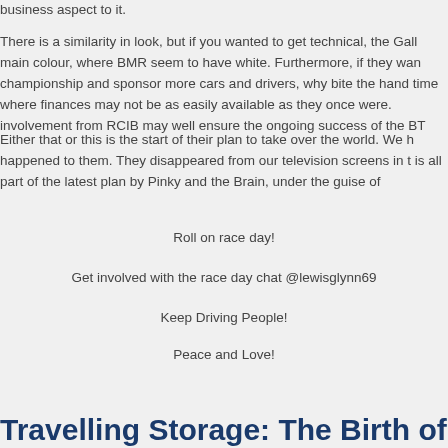business aspect to it.
There is a similarity in look, but if you wanted to get technical, the Gall main colour, where BMR seem to have white. Furthermore, if they wan championship and sponsor more cars and drivers, why bite the hand time where finances may not be as easily available as they once were. involvement from RCIB may well ensure the ongoing success of the BT
Either that or this is the start of their plan to take over the world. We h happened to them. They disappeared from our television screens in t is all part of the latest plan by Pinky and the Brain, under the guise of
Roll on race day!
Get involved with the race day chat @lewisglynn69
Keep Driving People!
Peace and Love!
Travelling Storage: The Birth of